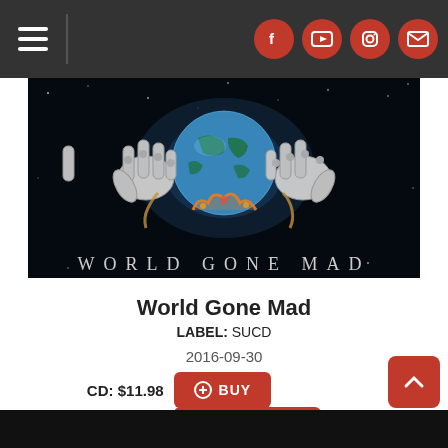[Figure (screenshot): Navigation bar with hamburger menu on left and social media icons (Facebook, YouTube, Instagram, Email) on the right on dark background]
[Figure (illustration): Album art for World Gone Mad: skeletal hands holding a blue earth globe against a dark space background with stars and fire. Text reads WORLD GONE MAD in spaced serif letters at bottom.]
World Gone Mad
LABEL: SUCD
2016-09-30
CD: $11.98  BUY
MP3 Album: $9.99  DOWNLOAD
[Figure (screenshot): Bottom dark strip partially visible, back-to-top red button with upward arrow]